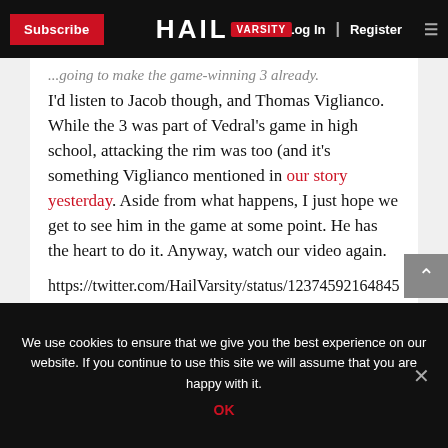Subscribe | HAIL VARSITY | Log In | Register
...going to make the game-winning 3 already. I'd listen to Jacob though, and Thomas Viglianco. While the 3 was part of Vedral's game in high school, attacking the rim was too (and it's something Viglianco mentioned in our story yesterday. Aside from what happens, I just hope we get to see him in the game at some point. He has the heart to do it. Anyway, watch our video again.
https://twitter.com/HailVarsity/status/12374592164845033553
MB: I wonder how much of an opportunity he or Banks
We use cookies to ensure that we give you the best experience on our website. If you continue to use this site we will assume that you are happy with it.
OK